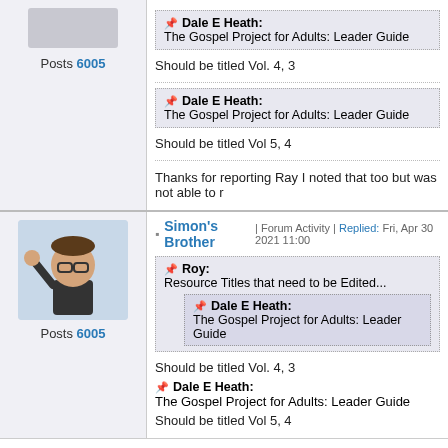Posts 6005
Dale E Heath: The Gospel Project for Adults: Leader Guide
Should be titled Vol. 4, 3
Dale E Heath: The Gospel Project for Adults: Leader Guide
Should be titled Vol 5, 4
Thanks for reporting Ray I noted that too but was not able to r
Simon's Brother | Forum Activity | Replied: Fri, Apr 30 2021 11:00
Posts 6005
Roy: Resource Titles that need to be Edited...
Dale E Heath: The Gospel Project for Adults: Leader Guide
Should be titled Vol. 4, 3
Dale E Heath: The Gospel Project for Adults: Leader Guide
Should be titled Vol 5, 4